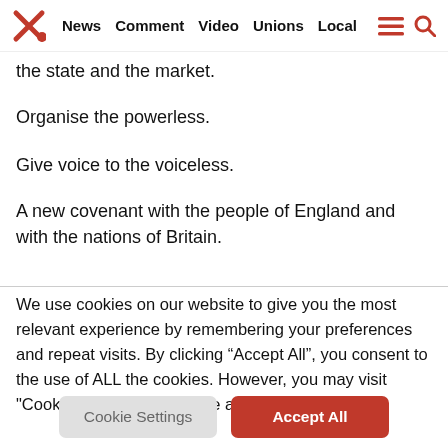News | Comment | Video | Unions | Local
the state and the market.
Organise the powerless.
Give voice to the voiceless.
A new covenant with the people of England and with the nations of Britain.
We use cookies on our website to give you the most relevant experience by remembering your preferences and repeat visits. By clicking “Accept All”, you consent to the use of ALL the cookies. However, you may visit "Cookie Settings" to provide a controlled consent.